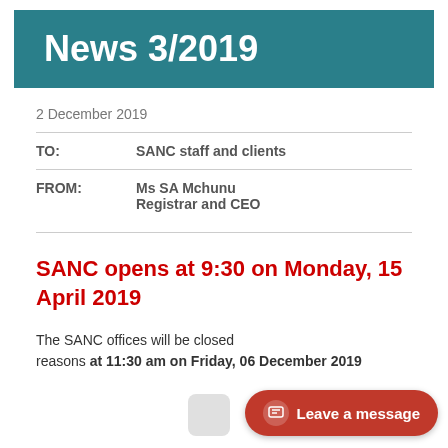News 3/2019
2 December 2019
| TO: | SANC staff and clients |
| FROM: | Ms SA Mchunu
Registrar and CEO |
SANC opens at 9:30 on Monday, 15 April 2019
The SANC offices will be closed reasons at 11:30 am on Friday, 06 December 2019